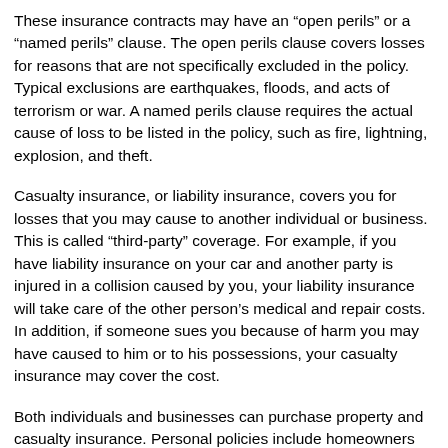These insurance contracts may have an “open perils” or a “named perils” clause. The open perils clause covers losses for reasons that are not specifically excluded in the policy. Typical exclusions are earthquakes, floods, and acts of terrorism or war. A named perils clause requires the actual cause of loss to be listed in the policy, such as fire, lightning, explosion, and theft.
Casualty insurance, or liability insurance, covers you for losses that you may cause to another individual or business. This is called “third-party” coverage. For example, if you have liability insurance on your car and another party is injured in a collision caused by you, your liability insurance will take care of the other person’s medical and repair costs. In addition, if someone sues you because of harm you may have caused to him or to his possessions, your casualty insurance may cover the cost.
Both individuals and businesses can purchase property and casualty insurance. Personal policies include homeowners insurance, renters insurance, and automobile insurance, whereas commercial policies are written specifically for businesses and other organizations and may include